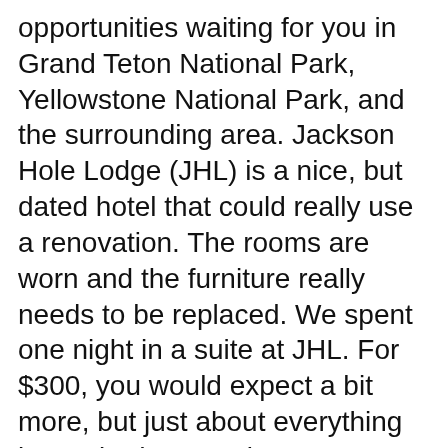opportunities waiting for you in Grand Teton National Park, Yellowstone National Park, and the surrounding area. Jackson Hole Lodge (JHL) is a nice, but dated hotel that could really use a renovation. The rooms are worn and the furniture really needs to be replaced. We spent one night in a suite at JHL. For $300, you would expect a bit more, but just about everything in two bedroom suite was 1980's. Jackson is a premium tourist town with expensive lodging.
Featuring a seasonal heated pool and a year-round fire pit, Jackson Hole Lodge is located in Jackson, Wyoming. Yellowstone National Park is 58 mi from the hotel. Free WiFi and a flat-screen TV